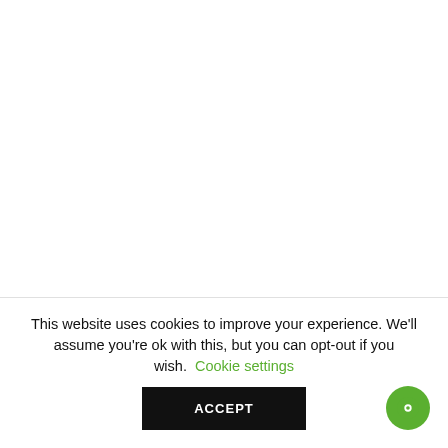[Figure (other): A circular 'MORE' button with thin border, centered on upper portion of page]
This website uses cookies to improve your experience. We'll assume you're ok with this, but you can opt-out if you wish. Cookie settings
ACCEPT